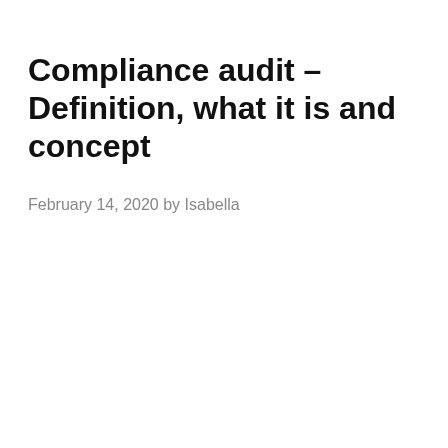Compliance audit – Definition, what it is and concept
February 14, 2020 by Isabella